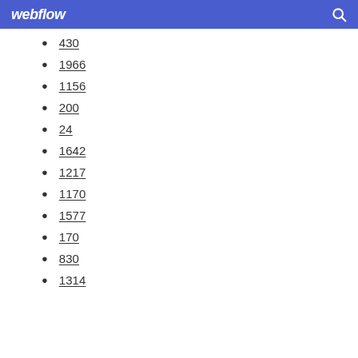webflow
430
1966
1156
200
24
1642
1217
1170
1577
170
830
1314